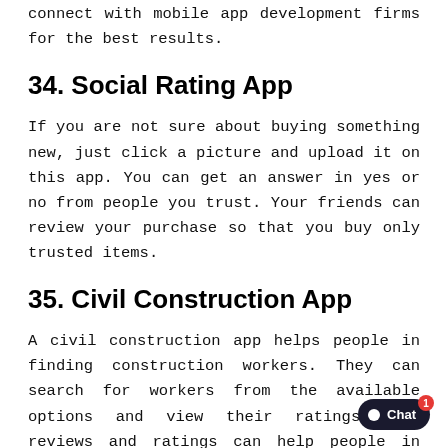connect with mobile app development firms for the best results.
34. Social Rating App
If you are not sure about buying something new, just click a picture and upload it on this app. You can get an answer in yes or no from people you trust. Your friends can review your purchase so that you buy only trusted items.
35. Civil Construction App
A civil construction app helps people in finding construction workers. They can search for workers from the available options and view their ratings. The reviews and ratings can help people in finding